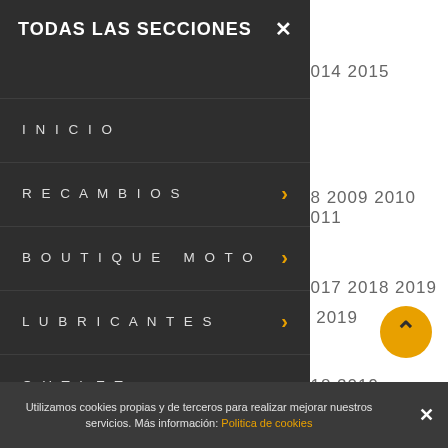TODAS LAS SECCIONES
INICIO
RECAMBIOS
BOUTIQUE MOTO
LUBRICANTES
OUTLET
2014 2015
08 2009 2010 2011
2017 2018 2019
8 2019
018 2019
Utilizamos cookies propias y de terceros para realizar mejorar nuestros servicios. Más información: Politica de cookies